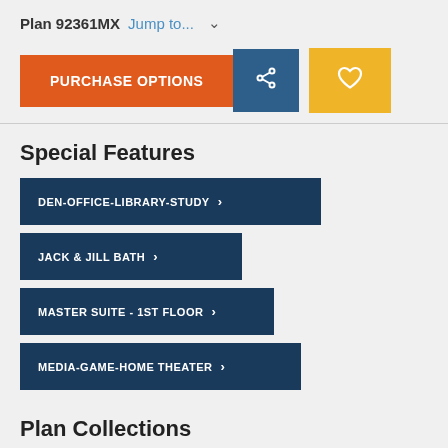Plan 92361MX Jump to...
PURCHASE OPTIONS | Share | Favorite
Special Features
DEN-OFFICE-LIBRARY-STUDY
JACK & JILL BATH
MASTER SUITE - 1ST FLOOR
MEDIA-GAME-HOME THEATER
Plan Collections
EXCLUSIVE
LAKE HOUSE PLANS